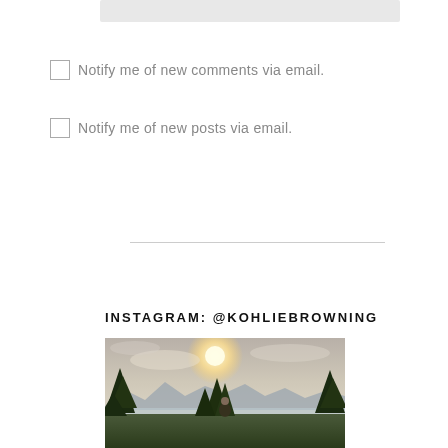[Figure (screenshot): Partially visible input/text field at top of page]
Notify me of new comments via email.
Notify me of new posts via email.
INSTAGRAM: @KOHLIEBROWNING
[Figure (photo): Outdoor photo of a person standing on a hilltop or viewpoint with evergreen trees, mountains, lake, and a bright sun/sky in the background. Instagram photo from @kohliebrowning.]